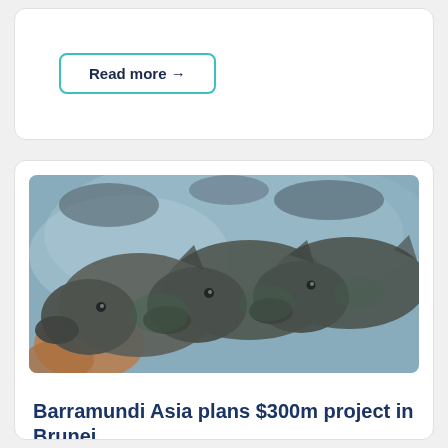Read more →
[Figure (photo): Underwater photograph of multiple large barramundi fish facing the camera closely, with a misty blue-green aquatic background]
Barramundi Asia plans $300m project in Brunei
The company is targeting annual production of 36,000t, equivalent to $324m, by 2032